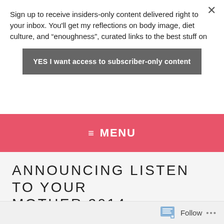Sign up to receive insiders-only content delivered right to your inbox. You'll get my reflections on body image, diet culture, and “enoughness”, curated links to the best stuff on
YES I want access to subscriber-only content
≡  MENU
ANNOUNCING LISTEN TO YOUR MOTHER 2014
November 6, 2013
Follow  •••